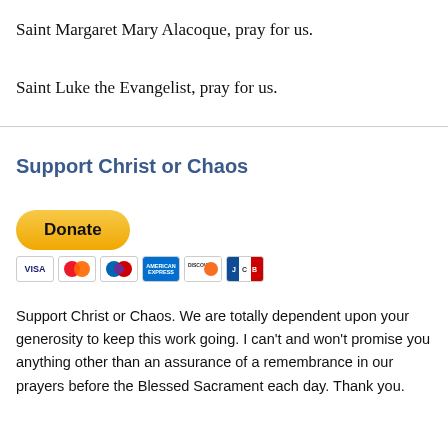Saint Margaret Mary Alacoque, pray for us.
Saint Luke the Evangelist, pray for us.
Support Christ or Chaos
[Figure (other): PayPal Donate button with credit card icons below (VISA, Mastercard, Maestro, American Express, Discover, JCB)]
Support Christ or Chaos. We are totally dependent upon your generosity to keep this work going. I can't and won't promise you anything other than an assurance of a remembrance in our prayers before the Blessed Sacrament each day. Thank you.